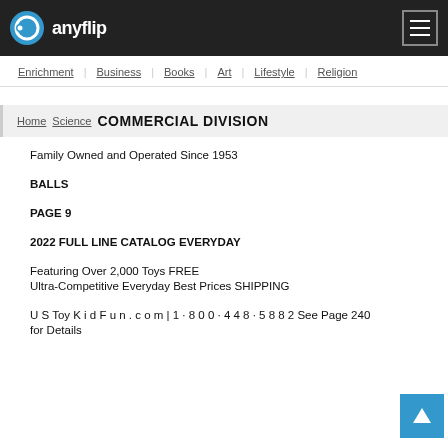anyflip
Enrichment | Business | Books | Art | Lifestyle | Religion
COMMERCIAL DIVISION
Family Owned and Operated Since 1953
BALLS
PAGE 9
2022 FULL LINE CATALOG EVERYDAY
Featuring Over 2,000 Toys FREE
Ultra-Competitive Everyday Best Prices SHIPPING
U S Toy K i d F u n . c o m | 1 · 8 0 0 · 4 4 8 · 5 8 8 2 See Page 240
for Details